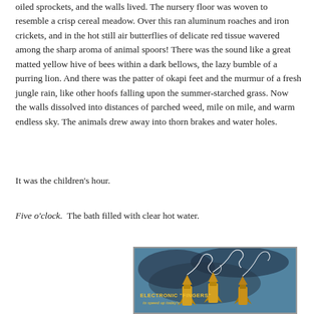oiled sprockets, and the walls lived. The nursery floor was woven to resemble a crisp cereal meadow. Over this ran aluminum roaches and iron crickets, and in the hot still air butterflies of delicate red tissue wavered among the sharp aroma of animal spoors! There was the sound like a great matted yellow hive of bees within a dark bellows, the lazy bumble of a purring lion. And there was the patter of okapi feet and the murmur of a fresh jungle rain, like other hoofs falling upon the summer-starched grass. Now the walls dissolved into distances of parched weed, mile on mile, and warm endless sky. The animals drew away into thorn brakes and water holes.
It was the children's hour.
Five o'clock. The bath filled with clear hot water.
[Figure (illustration): Retro advertisement illustration showing electronic guided missiles or rockets with spiral trails against a blue-grey background. Text reads 'ELECTRONIC "FINGERS"' and 'to speed up today's' in yellow lettering.]